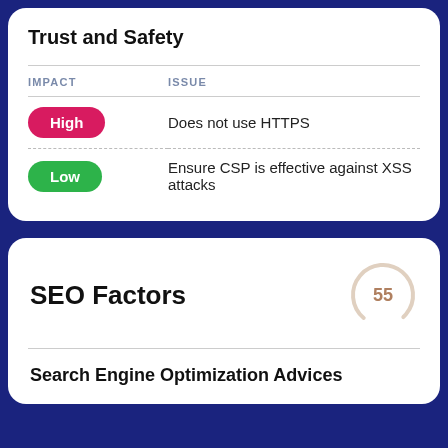Trust and Safety
| IMPACT | ISSUE |
| --- | --- |
| High | Does not use HTTPS |
| Low | Ensure CSP is effective against XSS attacks |
SEO Factors
[Figure (other): Score circle showing 55]
Search Engine Optimization Advices